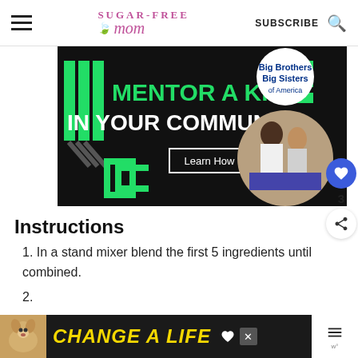Sugar-Free Mom | SUBSCRIBE
[Figure (photo): Advertisement banner: black background with green geometric shapes and text 'MENTOR A KID IN YOUR COMMUNITY.' with a 'Learn How' button and a photo of a man and boy working on a robotics project]
Instructions
1. In a stand mixer blend the first 5 ingredients until combined.
[Figure (photo): Bottom advertisement banner with a dog photo and text 'CHANGE A LIFE' in yellow on dark background]